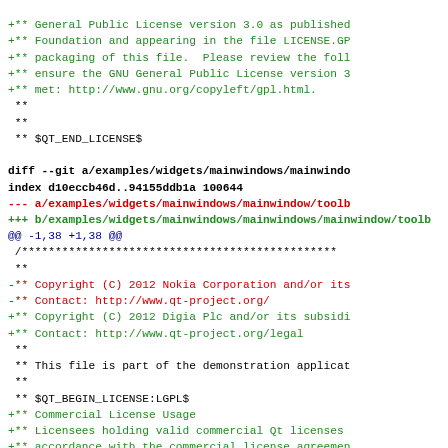Code diff showing git changes to Qt mainwindow toolbar file, including copyright update from Nokia to Digia and license changes.